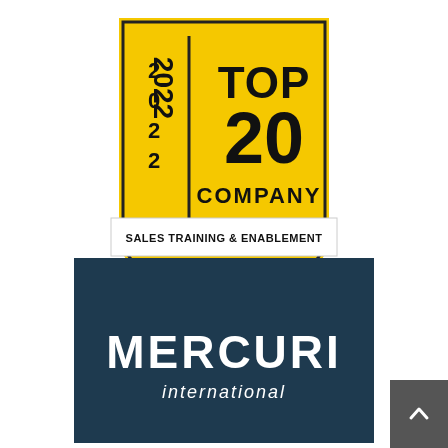[Figure (logo): 2022 Top 20 Company badge — yellow shield shape with black text '2022 TOP 20 COMPANY', a white banner reading 'SALES TRAINING & ENABLEMENT', and Training Industry logo/text at bottom]
[Figure (logo): Mercuri International logo on dark navy blue rectangle background. White text: 'MERCURI' in large bold letters, 'international' in smaller italic below. Dark grey scroll-to-top button at bottom right with chevron up arrow.]